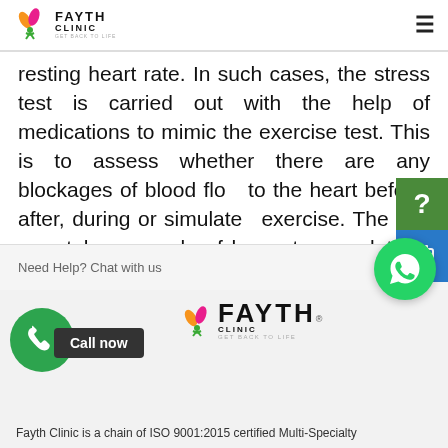FAYTH CLINIC — GET BACK TO LIFE
resting heart rate. In such cases, the stress test is carried out with the help of medications to mimic the exercise test. This is to assess whether there are any blockages of blood flow to the heart before, after, during or simulated exercise. The test may take a couple of hours to complete. If the result of cardiac stress test is abnormal, the doctor will prescribe a suitable solution for it.
Need Help? Chat with us
[Figure (logo): Fayth Clinic logo with phone icon and Call now badge]
Fayth Clinic is a chain of ISO 9001:2015 certified Multi-Specialty